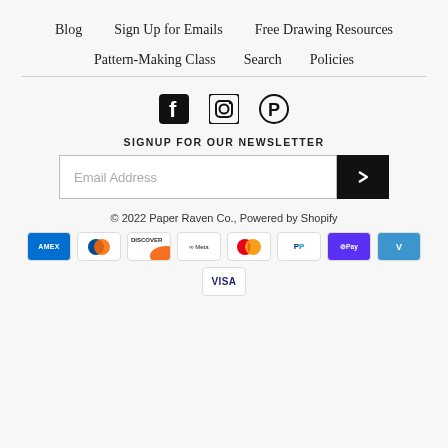Blog  Sign Up for Emails  Free Drawing Resources
Pattern-Making Class  Search  Policies
[Figure (other): Social media icons: Facebook, Instagram, Pinterest]
SIGNUP FOR OUR NEWSLETTER
Email Address [input field with submit button]
© 2022 Paper Raven Co., Powered by Shopify
[Figure (other): Payment method icons: American Express, Diners Club, Discover, Meta Pay, Mastercard, PayPal, Shop Pay, Venmo, Visa]